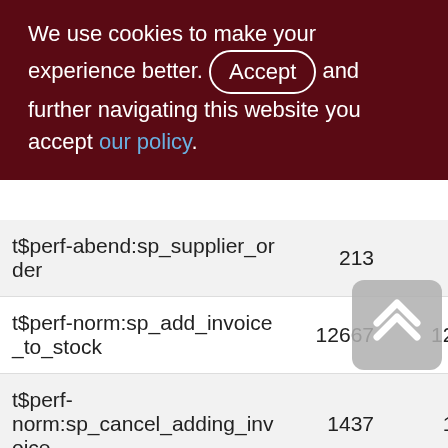We use cookies to make your experience better. By accepting and further navigating this website you accept our policy.
| Name | Col2 | Col3 |
| --- | --- | --- |
| t$perf-abend:sp_supplier_order | 213 | 2 |
| t$perf-norm:sp_add_invoice_to_stock | 12667 | 126 |
| t$perf-norm:sp_cancel_adding_invoice | 1437 | 14 |
| t$perf-norm:sp_cancel_client_order | 7139 | 71 |
| t$perf-norm:sp_cancel_customer_reserve | 2737 | 27 |
| t$perf-norm:sp_cancel_row_from_customer | 2761 | 27 |